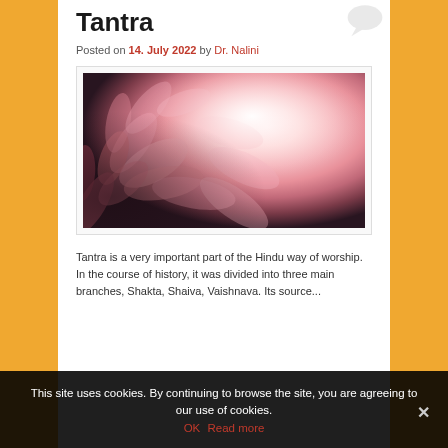Tantra
Posted on 14. July 2022 by Dr. Nalini
[Figure (photo): Close-up macro photograph of a pink dahlia flower with soft curling petals, bright white glow in the center-right, dark background]
Tantra is a very important part of the Hindu way of worship. In the course of history, it was divided into three main branches, Shakta, Shaiva, Vaishnava. Its source...
This site uses cookies. By continuing to browse the site, you are agreeing to our use of cookies.
OK   Read more